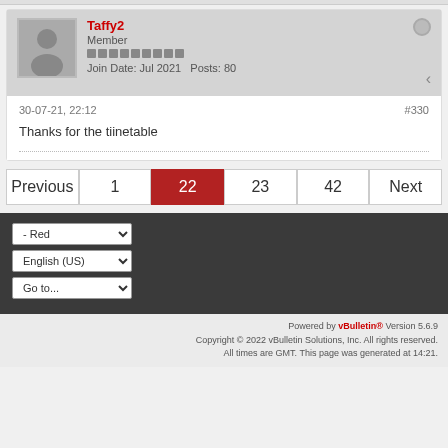Taffy2
Member
Join Date: Jul 2021  Posts: 80
30-07-21, 22:12
#330
Thanks for the tiinetable
Previous | 1 | 22 | 23 | 42 | Next
- Red
English (US)
Go to...
Powered by vBulletin® Version 5.6.9
Copyright © 2022 vBulletin Solutions, Inc. All rights reserved.
All times are GMT. This page was generated at 14:21.